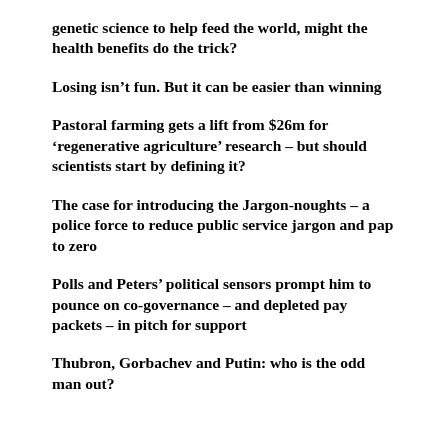genetic science to help feed the world, might the health benefits do the trick?
Losing isn't fun. But it can be easier than winning
Pastoral farming gets a lift from $26m for 'regenerative agriculture' research – but should scientists start by defining it?
The case for introducing the Jargon-noughts – a police force to reduce public service jargon and pap to zero
Polls and Peters' political sensors prompt him to pounce on co-governance – and depleted pay packets – in pitch for support
Thubron, Gorbachev and Putin: who is the odd man out?